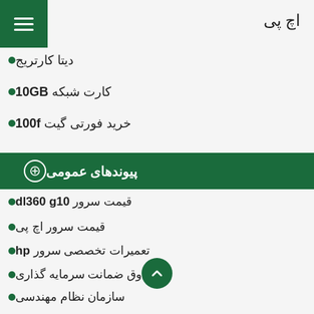اچ پی
دیتا کارتریج
کارت شبکه 10GB
خرید فورتی گیت 100f
پیوندهای عمومی
قیمت سرور dl360 g10
قیمت سرور اچ پی
تعمیرات تخصصی سرور hp
صندوق ضمانت سرمایه گذاری
سازمان نظام مهندسی
اتحادیه بازرگانی ایران
سازمان HSE
پایگاه ملی مناقصات